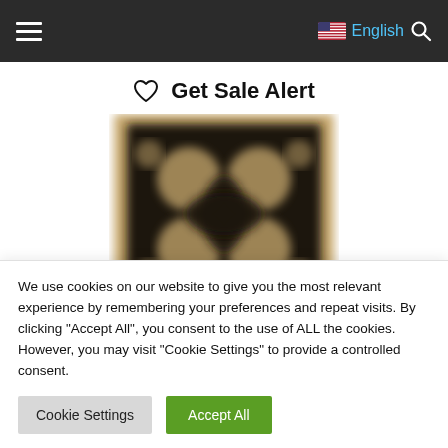≡  🇺🇸 English 🔍
♡  Get Sale Alert
[Figure (photo): Blurred photograph of a decorative rug with a dark background featuring a floral/medallion pattern with beige and gold tones, shown partially cropped.]
We use cookies on our website to give you the most relevant experience by remembering your preferences and repeat visits. By clicking "Accept All", you consent to the use of ALL the cookies. However, you may visit "Cookie Settings" to provide a controlled consent.
Cookie Settings  |  Accept All